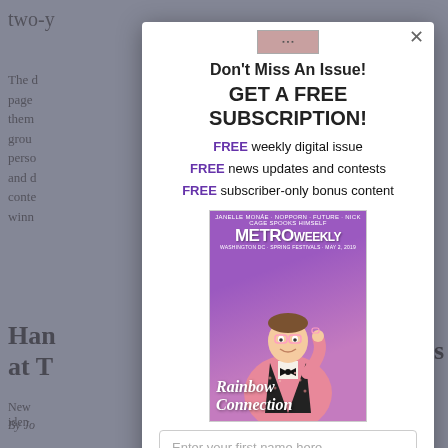Don't Miss An Issue!
GET A FREE SUBSCRIPTION!
FREE weekly digital issue
FREE news updates and contests
FREE subscriber-only bonus content
[Figure (photo): Metro Weekly magazine cover showing a man in a pink sparkly blazer with bow tie, holding glasses. Text reads 'Rainbow Connection' in cursive.]
Enter your first name here...